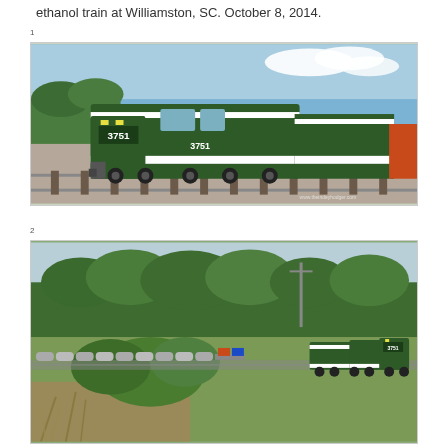ethanol train at Williamston, SC. October 8, 2014.
[Figure (photo): Close-up photo of a green Greenville & Western railroad locomotive numbered 3751, with white stripe, on tracks. Two additional green locomotives visible behind it along with orange freight cars. Photo credit: www.theindeyhodger.com]
[Figure (photo): Distant aerial-angle photo of a green Greenville & Western train pulling tank cars (ethanol train) through a wooded rural area, with locomotive visible on right side of image.]